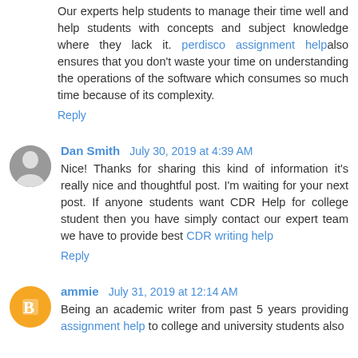Our experts help students to manage their time well and help students with concepts and subject knowledge where they lack it. perdisco assignment help also ensures that you don't waste your time on understanding the operations of the software which consumes so much time because of its complexity.
Reply
Dan Smith  July 30, 2019 at 4:39 AM
Nice! Thanks for sharing this kind of information it's really nice and thoughtful post. I'm waiting for your next post. If anyone students want CDR Help for college student then you have simply contact our expert team we have to provide best CDR writing help
Reply
ammie  July 31, 2019 at 12:14 AM
Being an academic writer from past 5 years providing assignment help to college and university students also